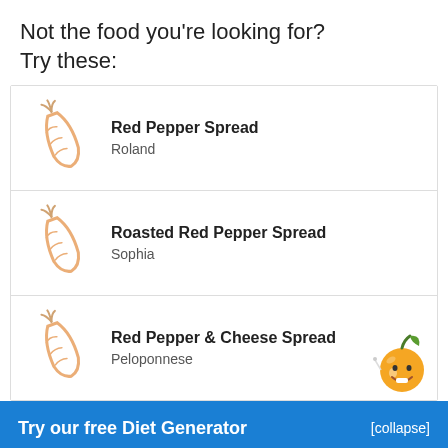Not the food you're looking for?
Try these:
Red Pepper Spread
Roland
Roasted Red Pepper Spread
Sophia
Red Pepper & Cheese Spread
Peloponnese
Try our free Diet Generator
I want to eat 1500 calories in 4 meals.
Generate